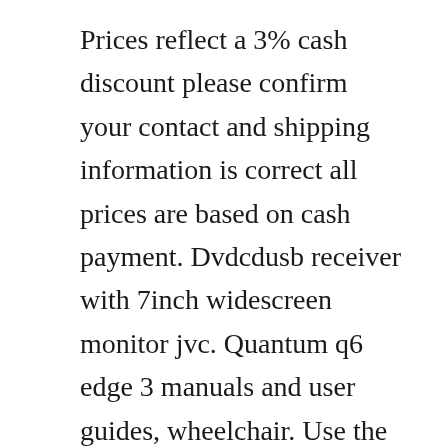Prices reflect a 3% cash discount please confirm your contact and shipping information is correct all prices are based on cash payment. Dvdcdusb receiver with 7inch widescreen monitor jvc. Quantum q6 edge 3 manuals and user guides, wheelchair. Use the hook to accurately measure the distance from the focal. Getting started memory camera gzms110 basic user guide jvc.
Jvc km h2500e manuals manuals and user guides for jvc km h2500e. Ask the question you have about the jvc kwr400 here simply to